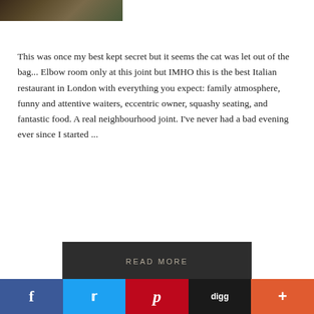[Figure (photo): Partial photo strip at top showing outdoor scene with dark planters/fence]
This was once my best kept secret but it seems the cat was let out of the bag... Elbow room only at this joint but IMHO this is the best Italian restaurant in London with everything you expect: family atmosphere, funny and attentive waiters, eccentric owner, squashy seating, and fantastic food. A real neighbourhood joint. I've never had a bad evening ever since I started ...
READ MORE
FILED UNDER: JETSETTER, TRAVEL INTELLIGENCE, TRAVEL REVIEWS
TAGGED WITH: ITALIAN CUISINE, LONDON, MAP, RESTAURANT